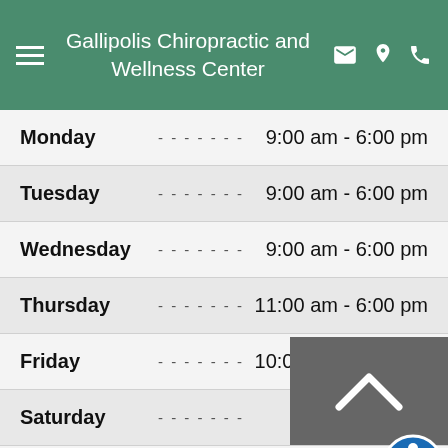Gallipolis Chiropractic and Wellness Center
| Day | Hours |
| --- | --- |
| Monday | 9:00 am - 6:00 pm |
| Tuesday | 9:00 am - 6:00 pm |
| Wednesday | 9:00 am - 6:00 pm |
| Thursday | 11:00 am - 6:00 pm |
| Friday | 10:00 am - 2:00 pm |
| Saturday | Closed |
| Sunday | Closed |